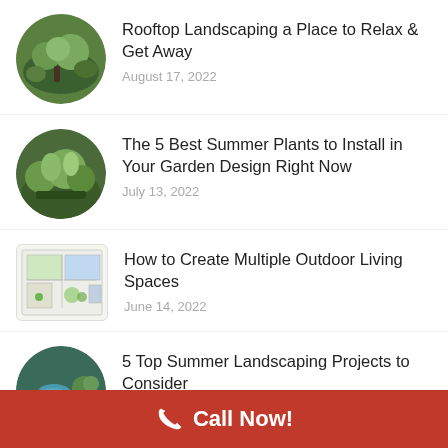Rooftop Landscaping a Place to Relax & Get Away
August 17, 2022
The 5 Best Summer Plants to Install in Your Garden Design Right Now
July 13, 2022
How to Create Multiple Outdoor Living Spaces
June 14, 2022
5 Top Summer Landscaping Projects to Consider
May 12, 2022
Call Now!